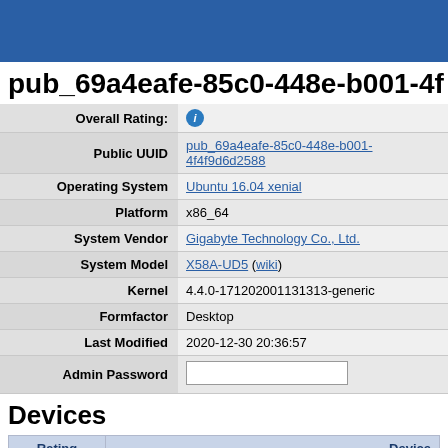pub_69a4eafe-85c0-448e-b001-4f
| Field | Value |
| --- | --- |
| Overall Rating: | ℹ️ |
| Public UUID | pub_69a4eafe-85c0-448e-b001-4f4f9d6d2588 |
| Operating System | Ubuntu 16.04 xenial |
| Platform | x86_64 |
| System Vendor | Gigabyte Technology Co., Ltd. |
| System Model | X58A-UD5 (wiki) |
| Kernel | 4.4.0-171202001131313-generic |
| Formfactor | Desktop |
| Last Modified | 2020-12-30 20:36:57 |
| Admin Password |  |
Devices
| Rating | Device |
| --- | --- |